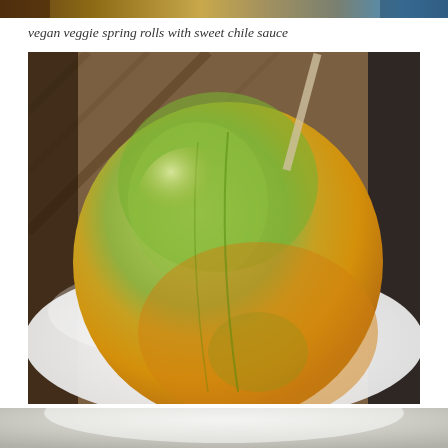[Figure (photo): Top strip of a food photo showing spring rolls with dark background]
vegan veggie spring rolls with sweet chile sauce
[Figure (photo): Close-up photo of a ripe mango with green and golden-yellow skin sitting on a white plate, with wooden table background]
[Figure (photo): Bottom strip of a photo showing a white plate with blurred background]